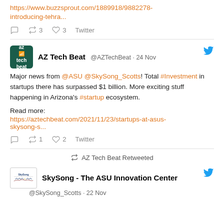https://www.buzzsprout.com/1889918/9882278-introducing-tehra...
Reply  Retweet 3  Like 3  Twitter
AZ Tech Beat @AZTechBeat · 24 Nov
Major news from @ASU @SkySong_Scotts! Total #Investment in startups there has surpassed $1 billion. More exciting stuff happening in Arizona's #startup ecosystem.
Read more:
https://aztechbeat.com/2021/11/23/startups-at-asus-skysong-s...
Reply  Retweet 1  Like 2  Twitter
AZ Tech Beat Retweeted
SkySong - The ASU Innovation Center
@SkySong_Scotts · 22 Nov